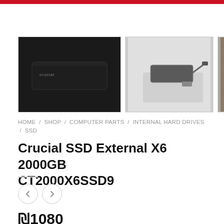[Figure (photo): Three product photos of Crucial SSD External X6 2000GB: first photo shows the SSD from front angle (dark/black), second shows SSD with USB cable on a desk, third shows SSD in use near a camera and laptop on a wooden surface]
HOME / SHOP / COMPUTER PARTS / INTERNAL HARD DRIVES / SSD
Crucial SSD External X6 2000GB CT2000X6SSD9
₪1080